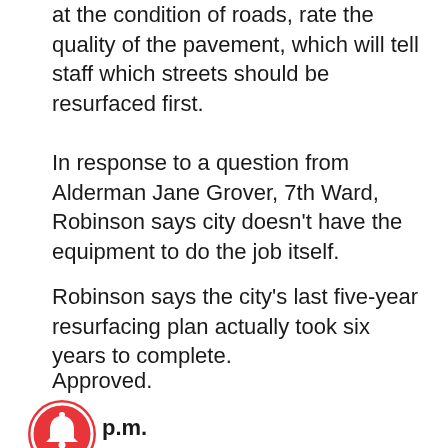at the condition of roads, rate the quality of the pavement, which will tell staff which streets should be resurfaced first.
In response to a question from Alderman Jane Grover, 7th Ward, Robinson says city doesn't have the equipment to do the job itself.
Robinson says the city's last five-year resurfacing plan actually took six years to complete.
Approved.
p.m.